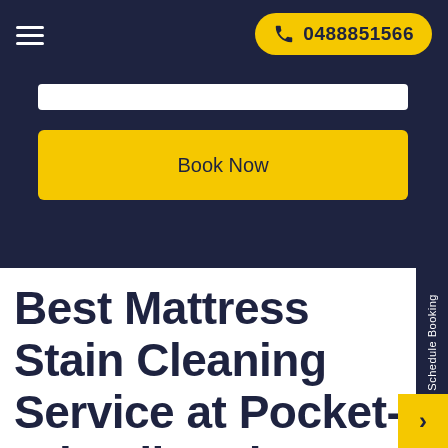0488851566
Book Now
Best Mattress Stain Cleaning Service at Pocket-Friendly Prices!
Schedule Booking